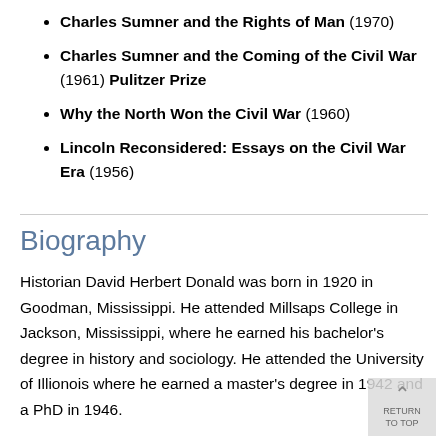Charles Sumner and the Rights of Man (1970)
Charles Sumner and the Coming of the Civil War (1961) Pulitzer Prize
Why the North Won the Civil War (1960)
Lincoln Reconsidered: Essays on the Civil War Era (1956)
Biography
Historian David Herbert Donald was born in 1920 in Goodman, Mississippi. He attended Millsaps College in Jackson, Mississippi, where he earned his bachelor's degree in history and sociology. He attended the University of Illionois where he earned a master's degree in 1942 and a PhD in 1946.